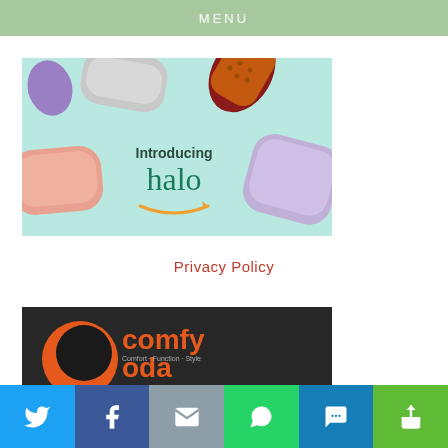MENU
[Figure (photo): Amazon Halo fitness band advertisement showing multiple colorful wristbands on a light blue background with text 'Introducing halo' and the Amazon smile logo]
Privacy Policy
[Figure (photo): Comfy Oda product image showing orange logo and brand name on dark background]
Share buttons: Twitter, Facebook, Mail, WhatsApp, SMS, More